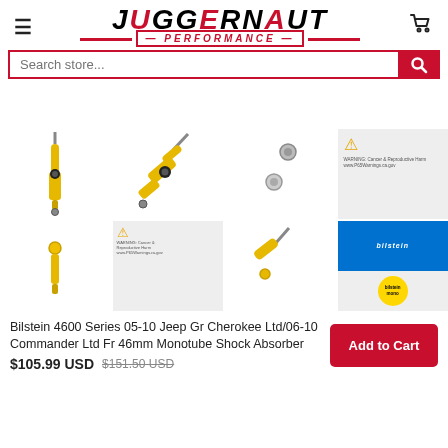[Figure (logo): Juggernaut Performance logo with hamburger menu and cart icon]
[Figure (screenshot): Search store input field with red search button]
[Figure (photo): Product image grid showing Bilstein 4600 shock absorbers from multiple angles and warning labels]
Bilstein 4600 Series 05-10 Jeep Gr Cherokee Ltd/06-10 Commander Ltd Fr 46mm Monotube Shock Absorber
$105.99 USD $151.50 USD